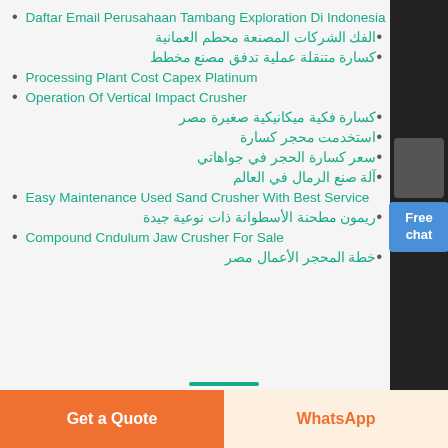Daftar Email Perusahaan Tambang Exploration Di Indonesia
الفك الشركات المصنعة محطم العمانية
كسارة متنقلة عملية تدفق مصنع مخطط
Processing Plant Cost Capex Platinum
Operation Of Vertical Impact Crusher
كسارة فكية ميكانيكية صغيرة مصر
استخدمت محجر كسارة
سعر كسارة الحجر في جواهاتي
آلة صنع الرمال في العالم
Easy Maintenance Used Sand Crusher With Best Service
ريمون مطحنة الأسطوانة ذات نوعية جيدة
Compound Cndulum Jaw Crusher For Sale
خطة المحجر الأعمال مصر